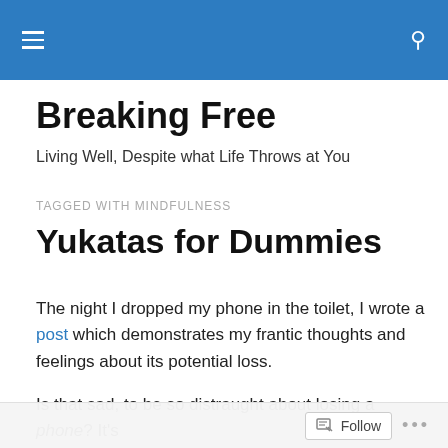Breaking Free — navigation bar with hamburger menu and search icon
Breaking Free
Living Well, Despite what Life Throws at You
TAGGED WITH MINDFULNESS
Yukatas for Dummies
The night I dropped my phone in the toilet, I wrote a post which demonstrates my frantic thoughts and feelings about its potential loss.
Is that sad, to be so distraught about losing a phone?  It's
Follow ...